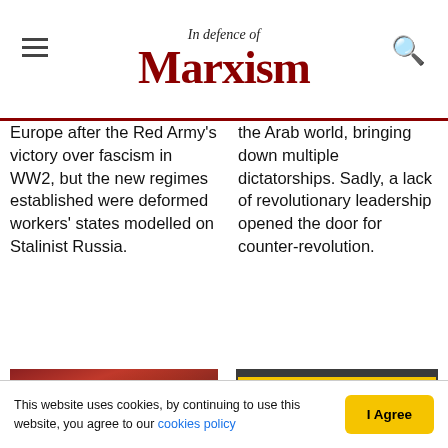In Defence of Marxism
Europe after the Red Army's victory over fascism in WW2, but the new regimes established were deformed workers' states modelled on Stalinist Russia.
the Arab world, bringing down multiple dictatorships. Sadly, a lack of revolutionary leadership opened the door for counter-revolution.
[Figure (photo): Hugo Chavez raising fist at a rally with crowds of supporters in red]
[Figure (photo): Road signs stacked: DEAD END arrow pointing right (yellow), CAPITALISM arrow pointing right (white), SOCIALISM arrow pointing left (white)]
This website uses cookies, by continuing to use this website, you agree to our cookies policy